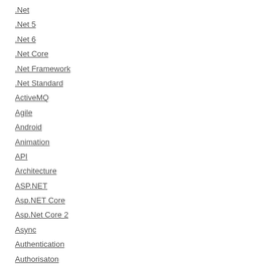.Net
.Net 5
.Net 6
.Net Core
.Net Framework
.Net Standard
ActiveMQ
Agile
Android
Animation
API
Architecture
ASP.NET
Asp.NET Core
Asp.Net Core 2
Async
Authentication
Authorisaton
Azure